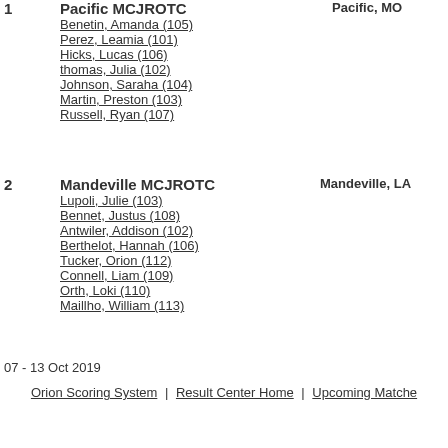1  Pacific MCJROTC  Pacific, MO
Benetin, Amanda (105)
Perez, Leamia (101)
Hicks, Lucas (106)
thomas, Julia (102)
Johnson, Saraha (104)
Martin, Preston (103)
Russell, Ryan (107)
2  Mandeville MCJROTC  Mandeville, LA
Lupoli, Julie (103)
Bennet, Justus (108)
Antwiler, Addison (102)
Berthelot, Hannah (106)
Tucker, Orion (112)
Connell, Liam (109)
Orth, Loki (110)
Maillho, William (113)
07 - 13 Oct 2019
Orion Scoring System | Result Center Home | Upcoming Matches